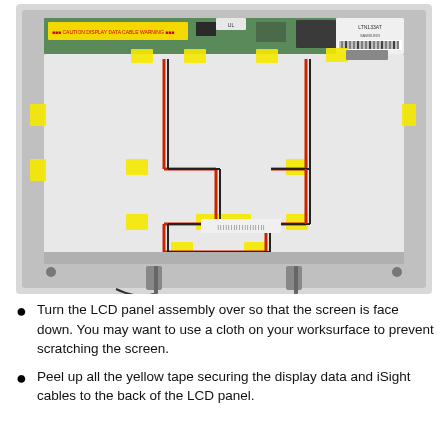[Figure (photo): Back of an LCD panel assembly showing the circuit board, yellow tape securing display data and iSight cables, red and dark ribbon cables routed across the back of the panel, barcode stickers, and metal hinge stands at the bottom.]
Turn the LCD panel assembly over so that the screen is face down. You may want to use a cloth on your worksurface to prevent scratching the screen.
Peel up all the yellow tape securing the display data and iSight cables to the back of the LCD panel.